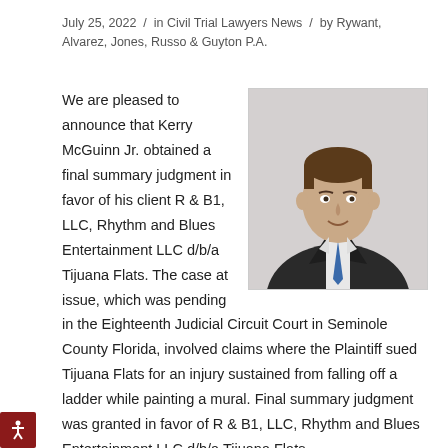July 25, 2022 / in Civil Trial Lawyers News / by Rywant, Alvarez, Jones, Russo & Guyton P.A.
[Figure (photo): Professional headshot of Kerry McGuinn Jr., a middle-aged man in a dark suit with blue tie, smiling, against a light gray background.]
We are pleased to announce that Kerry McGuinn Jr. obtained a final summary judgment in favor of his client R & B1, LLC, Rhythm and Blues Entertainment LLC d/b/a Tijuana Flats. The case at issue, which was pending in the Eighteenth Judicial Circuit Court in Seminole County Florida, involved claims where the Plaintiff sued Tijuana Flats for an injury sustained from falling off a ladder while painting a mural. Final summary judgment was granted in favor of R & B1, LLC, Rhythm and Blues Entertainment LLC d/b/a Tijuana Flats.